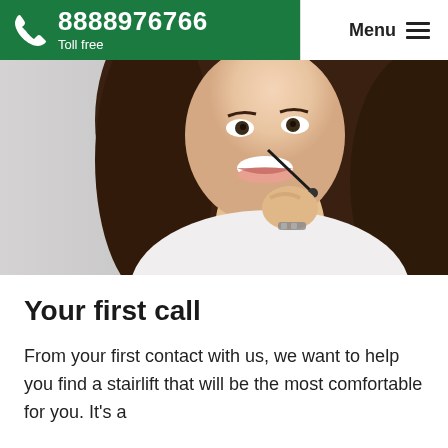8888976766 Toll free | Menu
[Figure (photo): A smiling woman with long dark hair wearing a headset/earpiece, dressed in a white top, photographed against a light grey background. She appears to be a customer service representative holding the headset microphone near her mouth.]
Your first call
From your first contact with us, we want to help you find a stairlift that will be the most comfortable for you. It's a